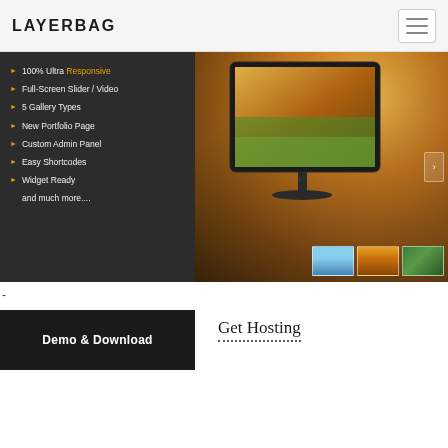LAYERBAG
[Figure (screenshot): Website hero banner showing a dark left panel with feature list and right panel with iMac monitor displaying a landscape photo, forest background, and thumbnail strip. Features listed: 100% Ultra Responsive, Full-Screen Slider / Video, 5 Gallery Types, New Portfolio Page, Custom Admin Panel, Easy Shortcodes, Widget Ready, and much more....]
100% Ultra Responsive
Full-Screen Slider / Video
5 Gallery Types
New Portfolio Page
Custom Admin Panel
Easy Shortcodes
Widget Ready
and much more....
-
Demo & Download
Get Hosting